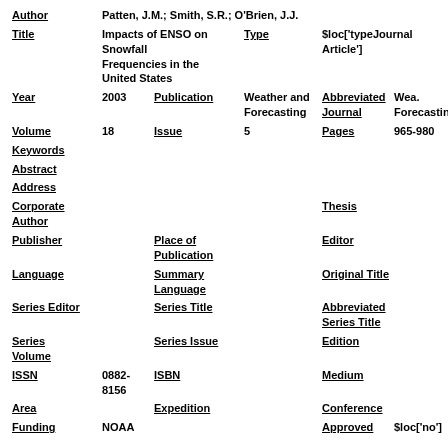| Field | Value | Field | Value | Field | Value |
| --- | --- | --- | --- | --- | --- |
| Author | Patten, J.M.; Smith, S.R.; O'Brien, J.J. |  |  |  |  |
| Title | Impacts of ENSO on Snowfall Frequencies in the United States | Type |  |  | $loc['typeJournal Article'] |
| Year | 2003 | Publication | Weather and Forecasting | Abbreviated Journal | Wea. Forecasting |
| Volume | 18 | Issue | 5 | Pages | 965-980 |
| Keywords |  |  |  |  |  |
| Abstract |  |  |  |  |  |
| Address |  |  |  |  |  |
| Corporate Author |  |  |  | Thesis |  |
| Publisher |  | Place of Publication |  | Editor |  |
| Language |  | Summary Language |  | Original Title |  |
| Series Editor |  | Series Title |  | Abbreviated Series Title |  |
| Series Volume |  | Series Issue |  | Edition |  |
| ISSN | 0882-8156 | ISBN |  | Medium |  |
| Area |  | Expedition |  | Conference |  |
| Funding | NOAA |  |  | Approved | $loc['no'] |